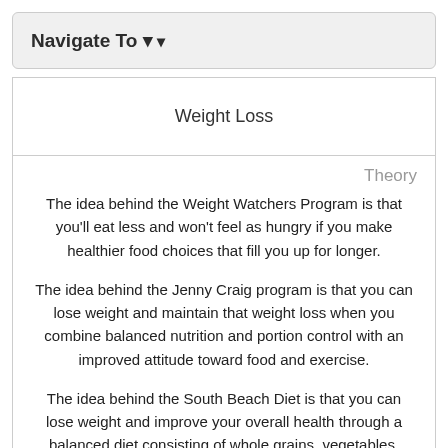Navigate To ▾
Weight Loss
Theory
The idea behind the Weight Watchers Program is that you'll eat less and won't feel as hungry if you make healthier food choices that fill you up for longer.
The idea behind the Jenny Craig program is that you can lose weight and maintain that weight loss when you combine balanced nutrition and portion control with an improved attitude toward food and exercise.
The idea behind the South Beach Diet is that you can lose weight and improve your overall health through a balanced diet consisting of whole grains, vegetables, fruits, lean proteins, low-fat dairy products and healthy fats. Although it is